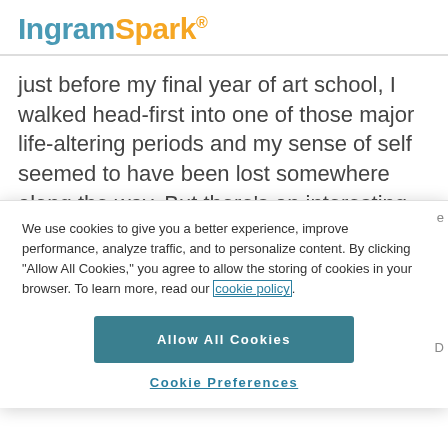IngramSpark®
just before my final year of art school, I walked head-first into one of those major life-altering periods and my sense of self seemed to have been lost somewhere along the way. But there's an interesting,
We use cookies to give you a better experience, improve performance, analyze traffic, and to personalize content. By clicking "Allow All Cookies," you agree to allow the storing of cookies in your browser. To learn more, read our cookie policy.
Allow All Cookies
Cookie Preferences